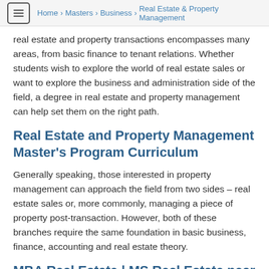Home > Masters > Business > Real Estate & Property Management
real estate and property transactions encompasses many areas, from basic finance to tenant relations. Whether students wish to explore the world of real estate sales or want to explore the business and administration side of the field, a degree in real estate and property management can help set them on the right path.
Real Estate and Property Management Master's Program Curriculum
Generally speaking, those interested in property management can approach the field from two sides – real estate sales or, more commonly, managing a piece of property post-transaction. However, both of these branches require the same foundation in basic business, finance, accounting and real estate theory.
MBA Real Estate | MS Real Estate near Alaska